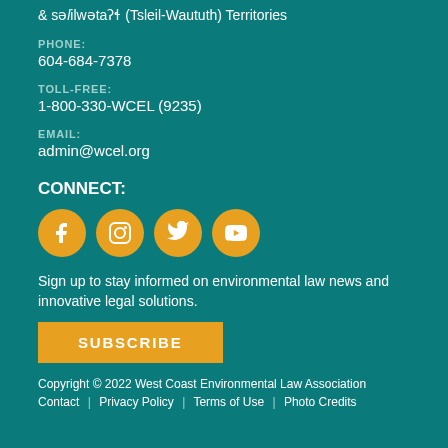& səlilwətaʔɬ (Tsleil-Waututh) Territories
PHONE:
604-684-7378
TOLL-FREE:
1-800-330-WCEL (9235)
EMAIL:
admin@wcel.org
CONNECT:
[Figure (illustration): Four social media icons (Facebook, Instagram, Twitter, YouTube) as white symbols on orange/amber circular backgrounds arranged horizontally]
Sign up to stay informed on environmental law news and innovative legal solutions.
SUBSCRIBE
Copyright © 2022 West Coast Environmental Law Association
Contact | Privacy Policy | Terms of Use | Photo Credits